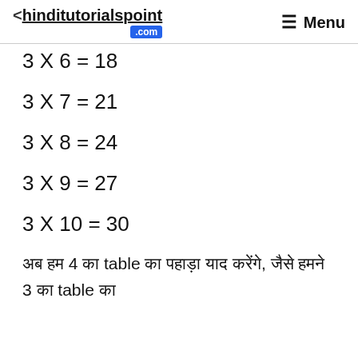<hinditutorialspoint .com   Menu
3 X 6 = 18
3 X 7 = 21
3 X 8 = 24
3 X 9 = 27
3 X 10 = 30
अब हम 4 का table का पहाड़ा याद करेंगे, जैसे हमने 3 का table का